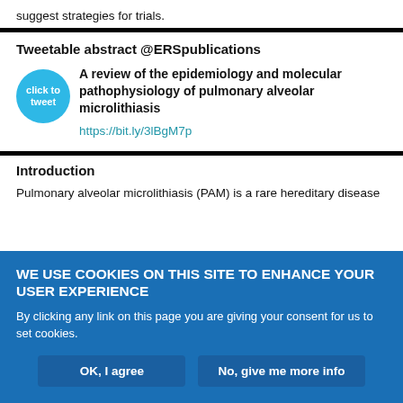suggest strategies for trials.
Tweetable abstract @ERSpublications
A review of the epidemiology and molecular pathophysiology of pulmonary alveolar microlithiasis https://bit.ly/3lBgM7p
Introduction
Pulmonary alveolar microlithiasis (PAM) is a rare hereditary disease
WE USE COOKIES ON THIS SITE TO ENHANCE YOUR USER EXPERIENCE

By clicking any link on this page you are giving your consent for us to set cookies.